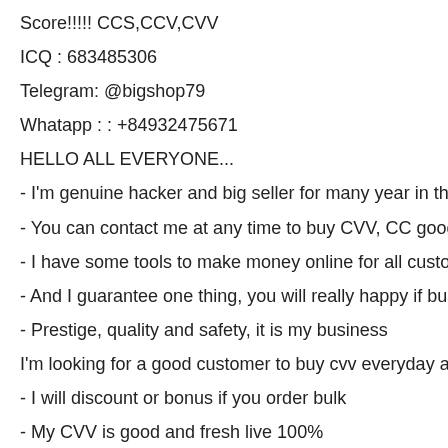Score!!!!! CCS,CCV,CVV
ICQ : 683485306
Telegram: @bigshop79
Whatapp : : +84932475671
HELLO ALL EVERYONE...
- I'm genuine hacker and big seller for many year in the
- You can contact me at any time to buy CVV, CC good
- I have some tools to make money online for all custo
- And I guarantee one thing, you will really happy if bus
- Prestige, quality and safety, it is my business
I'm looking for a good customer to buy cvv everyday a
- I will discount or bonus if you order bulk
- My CVV is good and fresh live 100%
- All my CVV are inspected before sale... i will replace if